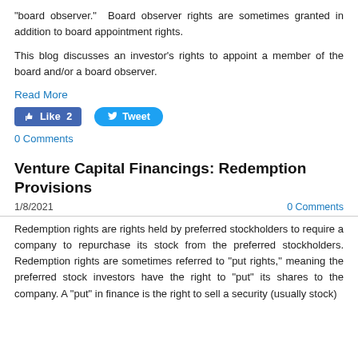“board observer.”  Board observer rights are sometimes granted in addition to board appointment rights.
This blog discusses an investor’s rights to appoint a member of the board and/or a board observer.
Read More
[Figure (other): Facebook Like button showing 'Like 2' and Twitter Tweet button]
0 Comments
Venture Capital Financings: Redemption Provisions
1/8/2021
0 Comments
Redemption rights are rights held by preferred stockholders to require a company to repurchase its stock from the preferred stockholders. Redemption rights are sometimes referred to “put rights,” meaning the preferred stock investors have the right to “put” its shares to the company. A “put” in finance is the right to sell a security (usually stock)